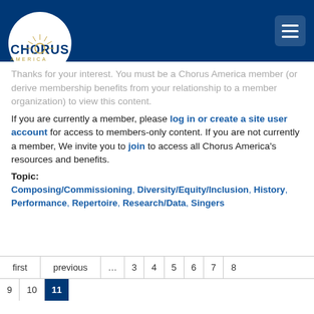Chorus America
Thanks for your interest. You must be a Chorus America member (or derive membership benefits from your relationship to a member organization) to view this content.
If you are currently a member, please log in or create a site user account for access to members-only content. If you are not currently a member, We invite you to join to access all Chorus America's resources and benefits.
Topic:
Composing/Commissioning, Diversity/Equity/Inclusion, History, Performance, Repertoire, Research/Data, Singers
| first | previous | ... | 3 | 4 | 5 | 6 | 7 | 8 |
| --- | --- | --- | --- | --- | --- | --- | --- | --- |
| 9 | 10 | 11 |